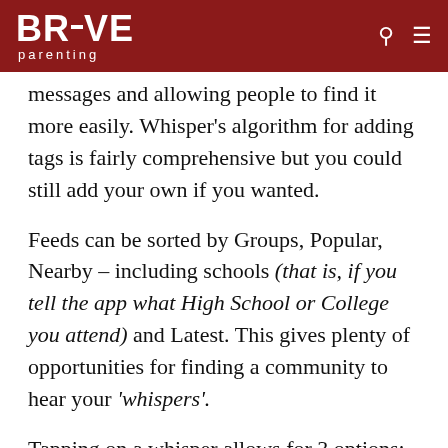BRAVE parenting
messages and allowing people to find it more easily. Whisper’s algorithm for adding tags is fairly comprehensive but you could still add your own if you wanted.
Feeds can be sorted by Groups, Popular, Nearby – including schools (that is, if you tell the app what High School or College you attend) and Latest. This gives plenty of opportunities for finding a community to hear your ‘whispers’.
Tapping on a whisper allows for 3 options: (1) heart, (2) reply (which are public), and (3)